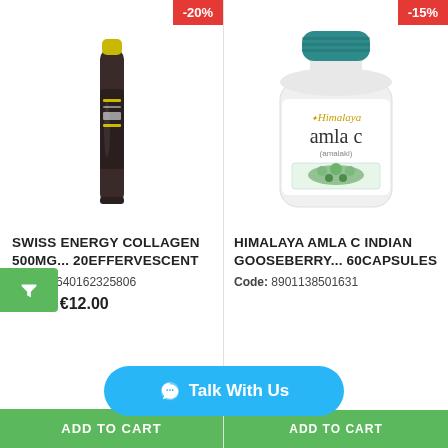[Figure (other): Red discount badge showing -20% on left product]
[Figure (other): Red discount badge showing -15% on right product]
[Figure (photo): Swiss Energy Collagen 500mg effervescent tablet tube, dark packaging]
[Figure (photo): Himalaya Amla C Indian Gooseberry supplement bottle, white with teal cap]
[Figure (other): Green filter/funnel icon button on left edge]
SWISS ENERGY COLLAGEN 500MG... 20EFFERVESCENT
Code: 7640162325806
€15.00  €12.00
ADD TO CART
HIMALAYA AMLA C INDIAN GOOSEBERRY... 60CAPSULES
Code: 8901138501631
ADD TO CART
Talk With Us